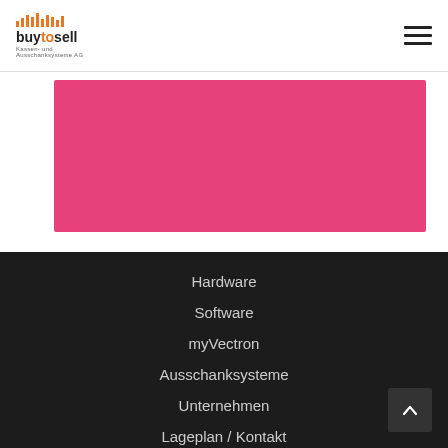buytosell Kassen- und Ausschanksysteme AG
[Figure (illustration): Pink/magenta rectangular banner image area]
Hardware
Software
myVectron
Ausschanksysteme
Unternehmen
Lageplan / Kontakt
Öffnungszeiten
Montag – Freitag: